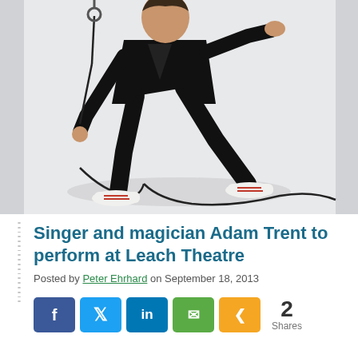[Figure (photo): A performer dressed in a black suit with white sneakers, holding a microphone stand and striking a dynamic pose against a white background. A black cord snakes across the floor.]
Singer and magician Adam Trent to perform at Leach Theatre
Posted by Peter Ehrhard on September 18, 2013
2 Shares (social share buttons: Facebook, Twitter, LinkedIn, Email, Share)